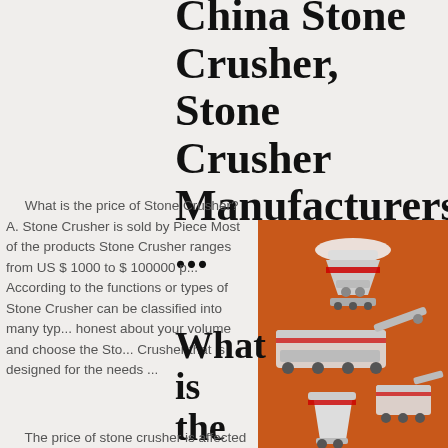China Stone Crusher, Stone Crusher Manufacturers ...
What is the price of Stone Crusher? A. Stone Crusher is sold by Piece Most of the products Stone Crusher ranges from US $ 1000 to $ 100000 ... According to the functions or types of Stone Crusher can be classified into many types honest about your volume and choose the Stone Crusher that is designed for the needs ...
[Figure (photo): Advertising sidebar showing stone crushing machines on orange background with discount offer and chat button]
What is the price of stone crusher? - Quora
The price of stone crusher is affected by several factors。First: steel prices. Steel is the main raw material